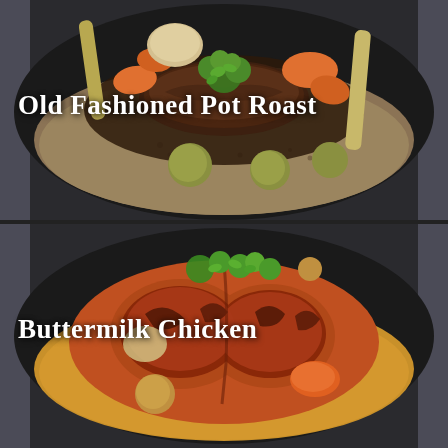[Figure (photo): Top half: A dark skillet/pan containing Old Fashioned Pot Roast with carrots, potatoes, lentils, onions, and garnished with fresh cilantro/parsley, in a rich dark gravy. Text overlay reads 'Old Fashioned Pot Roast' in white bold serif font.]
[Figure (photo): Bottom half: A dark skillet/pan containing Buttermilk Chicken — spatchcocked roasted chicken with charred crispy skin, surrounded by carrots, potatoes, and garnished with fresh herbs on a yellow lentil/grain base. Text overlay reads 'Buttermilk Chicken' in white bold serif font.]